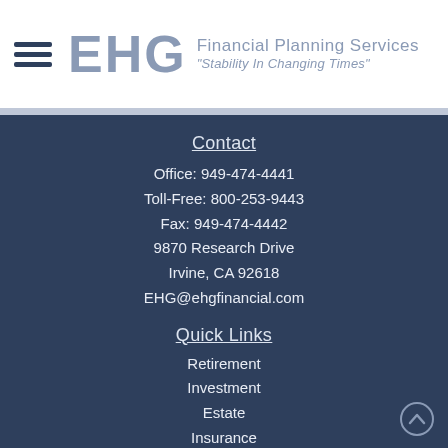[Figure (logo): EHG Financial Planning Services logo with hamburger menu icon on the left and the text 'EHG Financial Planning Services / "Stability In Changing Times"' in silver/gray on white background]
Contact
Office: 949-474-4441
Toll-Free: 800-253-9443
Fax: 949-474-4442
9870 Research Drive
Irvine, CA 92618
EHG@ehgfinancial.com
Quick Links
Retirement
Investment
Estate
Insurance
Tax